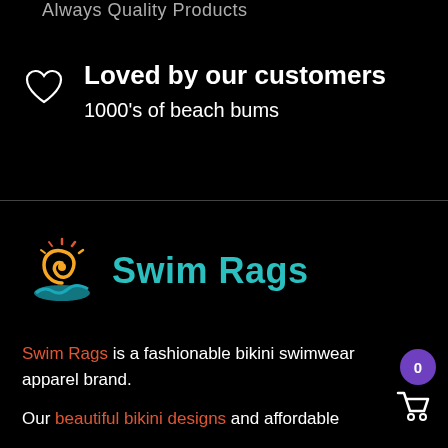Always Quality Products
Loved by our customers
1000's of beach bums
[Figure (logo): Swim Rags logo with swirl sun and wave design]
Swim Rags
Swim Rags is a fashionable bikini swimwear apparel brand.
Our beautiful bikini designs and affordable